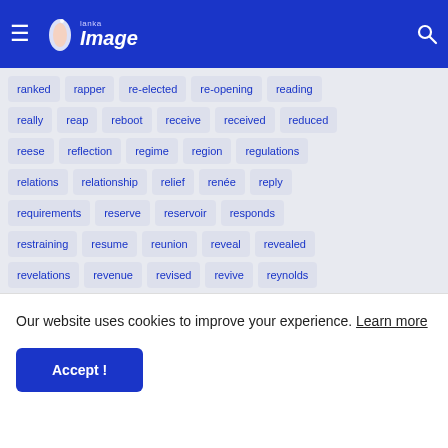Lanka Image — navigation bar with hamburger menu, logo, moon icon, search icon
ranked
rapper
re-elected
re-opening
reading
really
reap
reboot
receive
received
reduced
reese
reflection
regime
region
regulations
relations
relationship
relief
renée
reply
requirements
reserve
reservoir
responds
restraining
resume
reunion
reveal
revealed
revelations
revenue
revised
revive
reynolds
rings
rippon
rishad
road
roadmap
rocks
Our website uses cookies to improve your experience. Learn more
Accept !